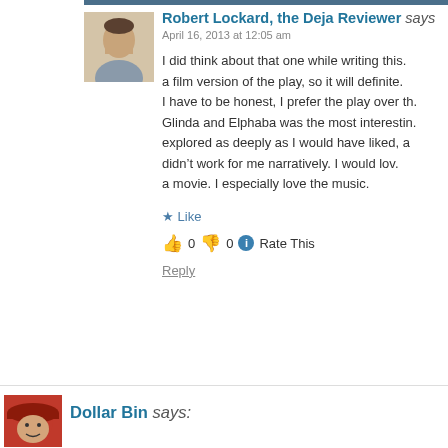Robert Lockard, the Deja Reviewer says April 16, 2013 at 12:05 am
I did think about that one while writing this. a film version of the play, so it will definite. I have to be honest, I prefer the play over th. Glinda and Elphaba was the most interestin. explored as deeply as I would have liked, a didn’t work for me narratively. I would lov. a movie. I especially love the music.
★ Like
👍 0 👎 0 ℹ Rate This
Reply
Dollar Bin says: